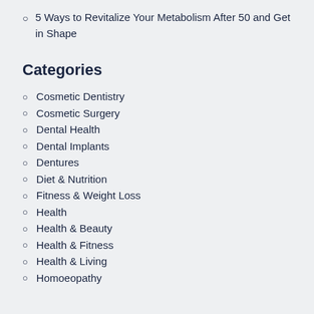5 Ways to Revitalize Your Metabolism After 50 and Get in Shape
Categories
Cosmetic Dentistry
Cosmetic Surgery
Dental Health
Dental Implants
Dentures
Diet & Nutrition
Fitness & Weight Loss
Health
Health & Beauty
Health & Fitness
Health & Living
Homoeopathy